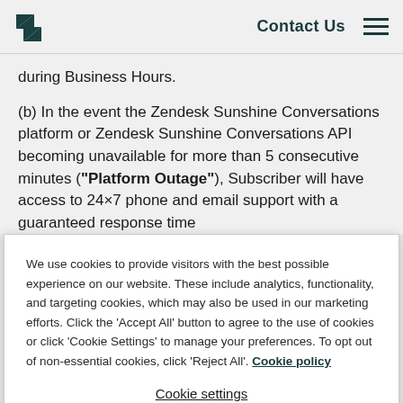Zendesk — Contact Us
during Business Hours.
(b) In the event the Zendesk Sunshine Conversations platform or Zendesk Sunshine Conversations API becoming unavailable for more than 5 consecutive minutes ("Platform Outage"), Subscriber will have access to 24×7 phone and email support with a guaranteed response time
We use cookies to provide visitors with the best possible experience on our website. These include analytics, functionality, and targeting cookies, which may also be used in our marketing efforts. Click the 'Accept All' button to agree to the use of cookies or click 'Cookie Settings' to manage your preferences. To opt out of non-essential cookies, click 'Reject All'. Cookie policy
Cookie settings
Reject all